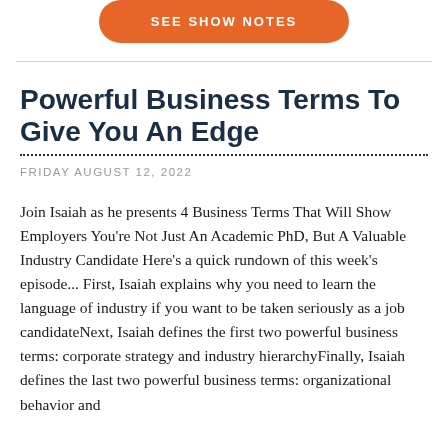[Figure (other): Orange rounded button with text SEE SHOW NOTES]
Powerful Business Terms To Give You An Edge
FRIDAY AUGUST 12, 2022
Join Isaiah as he presents 4 Business Terms That Will Show Employers You're Not Just An Academic PhD, But A Valuable Industry Candidate Here's a quick rundown of this week's episode... First, Isaiah explains why you need to learn the language of industry if you want to be taken seriously as a job candidateNext, Isaiah defines the first two powerful business terms: corporate strategy and industry hierarchyFinally, Isaiah defines the last two powerful business terms: organizational behavior and